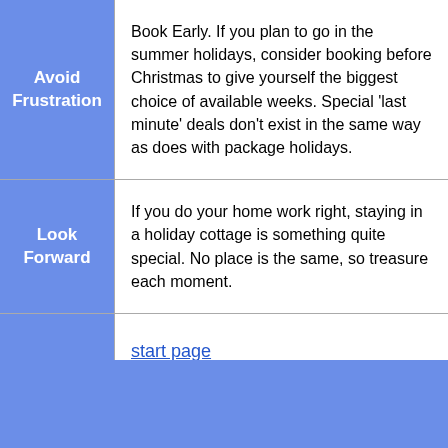Avoid Frustration
Book Early. If you plan to go in the summer holidays, consider booking before Christmas to give yourself the biggest choice of available weeks. Special 'last minute' deals don't exist in the same way as does with package holidays.
Look Forward
If you do your home work right, staying in a holiday cottage is something quite special. No place is the same, so treasure each moment.
start page